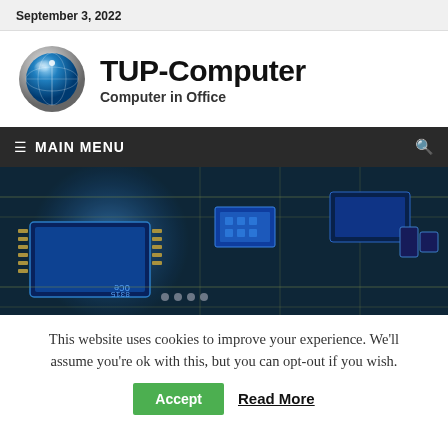September 3, 2022
[Figure (logo): TUP-Computer logo with blue globe icon, site title 'TUP-Computer' and tagline 'Computer in Office']
MAIN MENU
[Figure (photo): Close-up macro photo of a blue-lit computer circuit board with integrated circuits and PCB traces]
This website uses cookies to improve your experience. We'll assume you're ok with this, but you can opt-out if you wish.
Accept | Read More